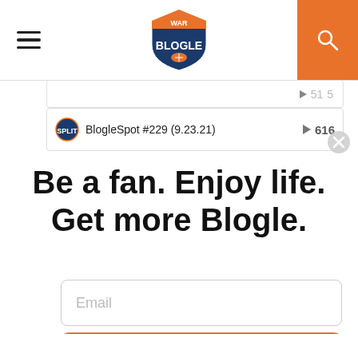War Blogle
BlogleSpot #229 (9.23.21)  ▶ 616
[Figure (other): Close/dismiss button (X circle) in top right of popup]
Be a fan. Enjoy life. Get more Blogle.
Email
Sign Up